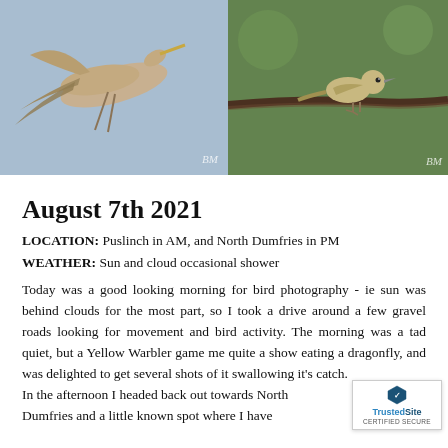[Figure (photo): Two bird photographs side by side. Left: a large wading bird (heron/crane) in flight with wings spread against a blue sky. Right: a small bird (Yellow Warbler) perched on a branch against a green background. Both photos have a watermark signature 'BM' at bottom right.]
August 7th 2021
LOCATION: Puslinch in AM, and North Dumfries in PM
WEATHER: Sun and cloud occasional shower
Today was a good looking morning for bird photography - ie sun was behind clouds for the most part, so I took a drive around a few gravel roads looking for movement and bird activity. The morning was a tad quiet, but a Yellow Warbler game me quite a show eating a dragonfly, and was delighted to get several shots of it swallowing it's catch.
In the afternoon I headed back out towards North Dumfries and a little known spot where I have is the most and delighted here I found the
[Figure (logo): TrustedSite CERTIFIED SECURE badge in bottom right corner]